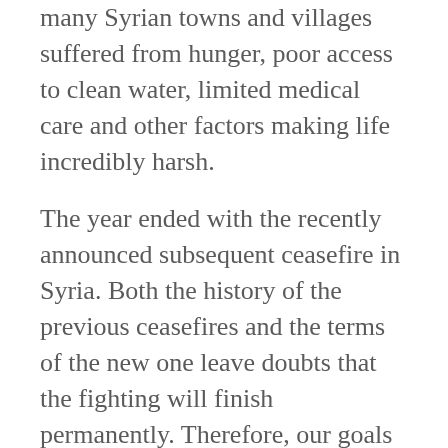many Syrian towns and villages suffered from hunger, poor access to clean water, limited medical care and other factors making life incredibly harsh.
The year ended with the recently announced subsequent ceasefire in Syria. Both the history of the previous ceasefires and the terms of the new one leave doubts that the fighting will finish permanently. Therefore, our goals of the march remain the same. The protection of civilians is still an absolute necessity.
Demanding increased action to protect civilians in Syria was what made us come together and march from Berlin towards Aleppo. The reason we chose this route, the so-called refugee route, is to pay tribute to the millions of refugees who were forced to flee their country, and to those who lost